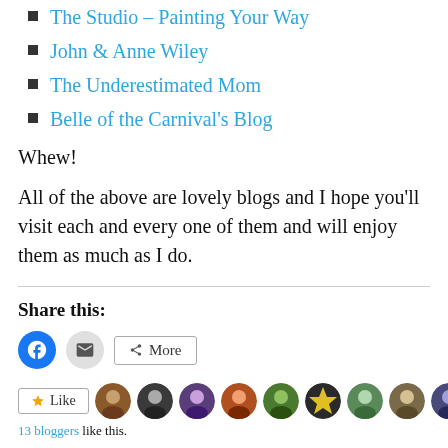The Studio – Painting Your Way
John & Anne Wiley
The Underestimated Mom
Belle of the Carnival's Blog
Whew!
All of the above are lovely blogs and I hope you'll visit each and every one of them and will enjoy them as much as I do.
Share this:
[Figure (other): Social share buttons: Facebook circle button, Email circle button, More button]
[Figure (other): Like button with star icon, followed by 11 small circular avatar images of bloggers]
13 bloggers like this.